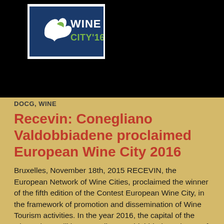[Figure (logo): Wine City '16 logo on white background inside black header banner]
DOCG, WINE
Recevin: Conegliano Valdobbiadene proclaimed European Wine City 2016
Bruxelles, November 18th, 2015 RECEVIN, the European Network of Wine Cities, proclaimed the winner of the fifth edition of the Contest European Wine City, in the framework of promotion and dissemination of Wine Tourism activities. In the year 2016, the capital of the wine culture will be Conegliano–Valdobbiadene, home of the DOCG Prosecco, in Italy. The Contest European Wine City annually recognizes the application whose …